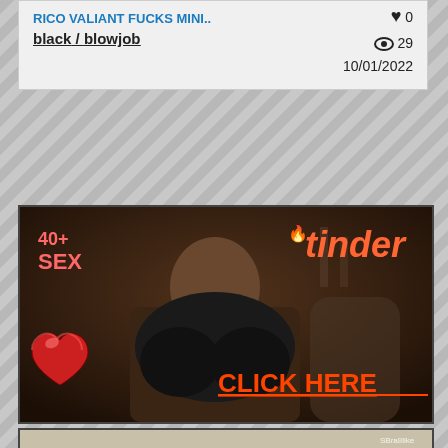RICO VALIANT FUCKS MINI..
black / blowjob
♥ 0  👁 29  10/01/2022
[Figure (photo): Advertisement banner with woman, tinder logo, 40+ SEX text, heart emoji, CLICK HERE text]
[Figure (photo): Thumbnail of video content showing dark-skinned subject on white leather surface]